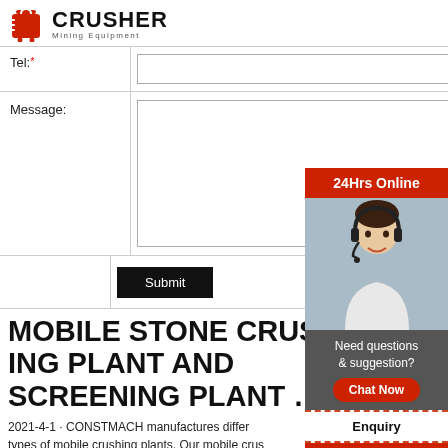[Figure (logo): Crusher Mining Equipment logo with red shopping bag icon and bold CRUSHER text]
| Tel:* |  |
| Message: |  |
|  | Submit |
MOBILE STONE CRUSHING PLANT AND SCREENING PLANT ...
2021-4-1 · CONSTMACH manufactures different types of mobile crushing plants. Our mobile crushing and screening plants are classified under 4 different the following: Mobile Hard Stone Crushing Plant
[Figure (photo): 24Hrs Online sidebar: woman with headset customer service photo, Need questions & suggestion? Chat Now button, Enquiry section, limingjlmofen@sina.com email]